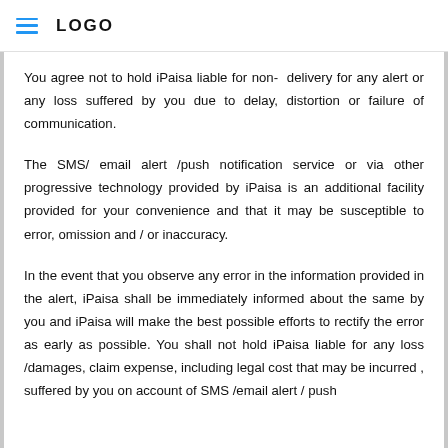LOGO
You agree not to hold iPaisa liable for non- delivery for any alert or any loss suffered by you due to delay, distortion or failure of communication.
The SMS/ email alert /push notification service or via other progressive technology provided by iPaisa is an additional facility provided for your convenience and that it may be susceptible to error, omission and / or inaccuracy.
In the event that you observe any error in the information provided in the alert, iPaisa shall be immediately informed about the same by you and iPaisa will make the best possible efforts to rectify the error as early as possible. You shall not hold iPaisa liable for any loss /damages, claim expense, including legal cost that may be incurred , suffered by you on account of SMS /email alert / push